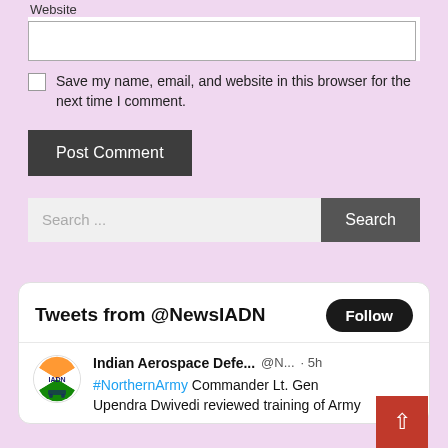Website
Save my name, email, and website in this browser for the next time I comment.
Post Comment
Search ...
[Figure (screenshot): Twitter/X widget showing Tweets from @NewsIADN with a Follow button and a tweet from Indian Aerospace Defe... @N... · 5h: #NorthernArmy Commander Lt. Gen Upendra Dwivedi reviewed training of Army]